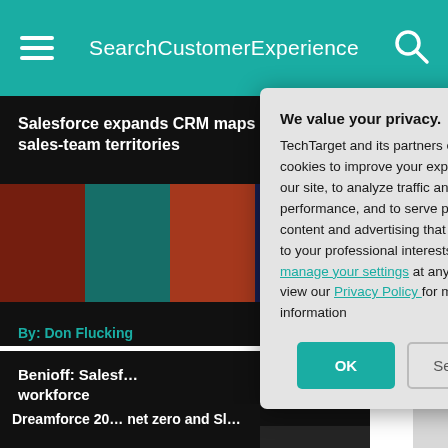SearchCustomerExperience
Salesforce expands CRM maps for sales-team territories
By: Don Flucking
Benioff: Salesf… workforce
By: Don Flucking
Dreamforce 20… net zero and Sl…
We value your privacy. TechTarget and its partners employ cookies to improve your experience on our site, to analyze traffic and performance, and to serve personalized content and advertising that are relevant to your professional interests. You can manage your settings at any time. Please view our Privacy Policy for more information